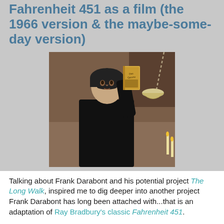Fahrenheit 451 as a film (the 1966 version & the maybe-some-day version)
[Figure (photo): A man in a black turtleneck and black helmet holding up a book titled Don Quixote, with a lamp chain visible in the background. Still from the 1966 film Fahrenheit 451.]
Talking about Frank Darabont and his potential project The Long Walk, inspired me to dig deeper into another project Frank Darabont has long been attached with...that is an adaptation of Ray Bradbury's classic Fahrenheit 451.
Like most projects Hollywood's involved with (copies of copies of copies), this book has already been adapted to the screen before by the famous French director François